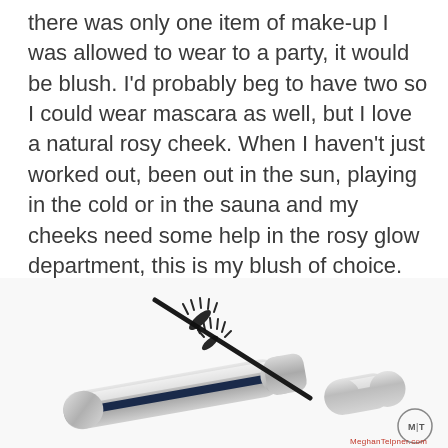there was only one item of make-up I was allowed to wear to a party, it would be blush. I'd probably beg to have two so I could wear mascara as well, but I love a natural rosy cheek. When I haven't just worked out, been out in the sun, playing in the cold or in the sauna and my cheeks need some help in the rosy glow department, this is my blush of choice.
[Figure (photo): A silver mascara tube open with the wand applicator resting diagonally across the tube on a white background. MeghanTelpner.com watermark logo visible in the bottom right corner.]